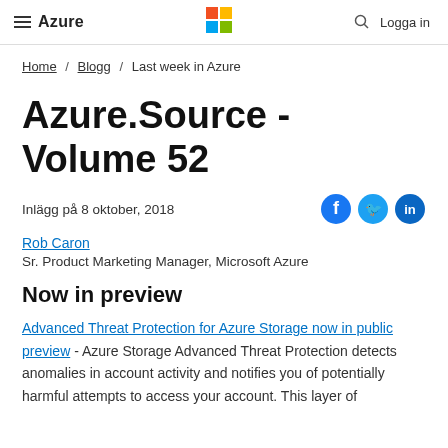Azure | Logga in
Home / Blogg / Last week in Azure
Azure.Source - Volume 52
Inlägg på 8 oktober, 2018
Rob Caron
Sr. Product Marketing Manager, Microsoft Azure
Now in preview
Advanced Threat Protection for Azure Storage now in public preview - Azure Storage Advanced Threat Protection detects anomalies in account activity and notifies you of potentially harmful attempts to access your account. This layer of